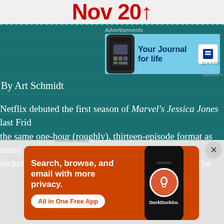Nov 20↑
[Figure (screenshot): Top advertisement banner: 'Your Journal for life' DayOne app ad with phone mockup on light blue background]
By Art Schmidt
Netflix debuted the first season of Marvel's Jessica Jones last Friday, the same one-hour (roughly), thirteen-episode format as many including House of Cards and Marvel's Daredevil. The fourth official Universe property to hit the small screen in live-action format, first Marvel's The Avengers movie in 2012, Jessica Jones takes the menacing feeling of Daredevil and adds in more edge, more sex
[Figure (screenshot): Bottom advertisement banner: DuckDuckGo app ad on orange background. 'Search, browse, and email with more privacy. All in One Free App' with phone showing DuckDuckGo logo]